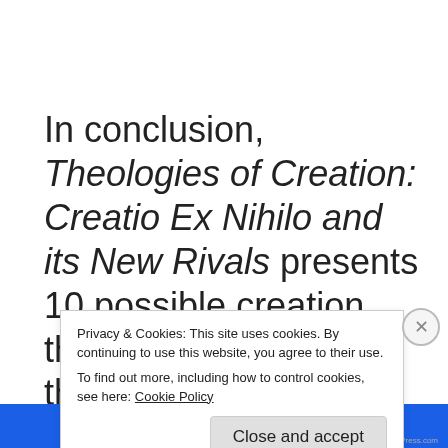In conclusion, Theologies of Creation: Creatio Ex Nihilo and its New Rivals presents 10 possible creation theologies, each with their own focus, that assist in
Privacy & Cookies: This site uses cookies. By continuing to use this website, you agree to their use.
To find out more, including how to control cookies, see here: Cookie Policy
Close and accept
Get D Pressure